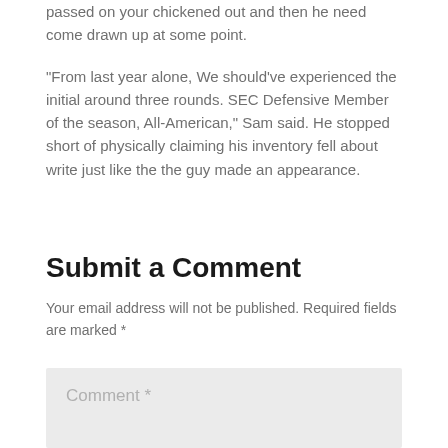passed on your chickened out and then he need come drawn up at some point.
“From last year alone, We should’ve experienced the initial around three rounds. SEC Defensive Member of the season, All-American,” Sam said. He stopped short of physically claiming his inventory fell about write just like the the guy made an appearance.
Submit a Comment
Your email address will not be published. Required fields are marked *
Comment *